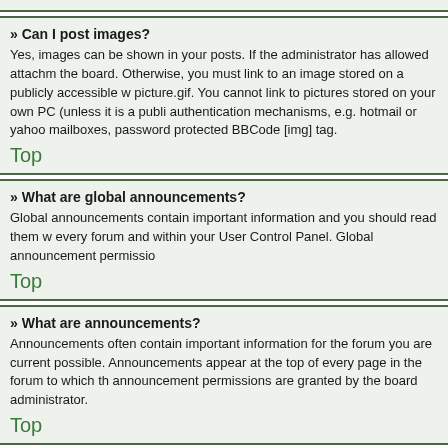» Can I post images?
Yes, images can be shown in your posts. If the administrator has allowed attachments on the board. Otherwise, you must link to an image stored on a publicly accessible website, e.g. picture.gif. You cannot link to pictures stored on your own PC (unless it is a publicly accessible server) nor images behind authentication mechanisms, e.g. hotmail or yahoo mailboxes, password protected sites, etc. To display the image use the BBCode [img] tag.
Top
» What are global announcements?
Global announcements contain important information and you should read them whenever possible. They will appear at the top of every forum and within your User Control Panel. Global announcement permissions are granted by the board administrator.
Top
» What are announcements?
Announcements often contain important information for the forum you are currently reading and you should read them whenever possible. Announcements appear at the top of every page in the forum to which they are posted. As with global announcements, announcement permissions are granted by the board administrator.
Top
» What are sticky topics?
Sticky topics within the forum appear below announcements and only on the first page. They are often quite important so you should read them whenever possible. As with announcements and global announcements, sticky topic permissions are granted by the board administrator.